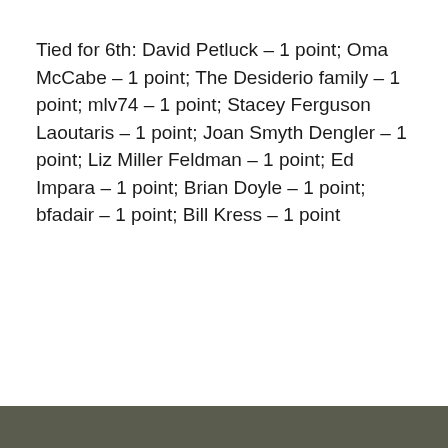Tied for 6th: David Petluck – 1 point; Oma McCabe – 1 point; The Desiderio family – 1 point; mlv74 – 1 point; Stacey Ferguson Laoutaris – 1 point; Joan Smyth Dengler – 1 point; Liz Miller Feldman – 1 point; Ed Impara – 1 point; Brian Doyle – 1 point; bfadair – 1 point; Bill Kress – 1 point